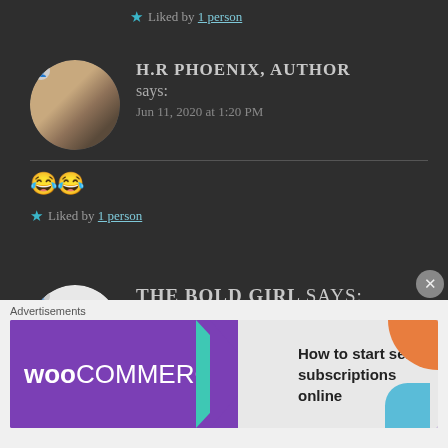★ Liked by 1 person
H.R PHOENIX, AUTHOR says:
Jun 11, 2020 at 1:20 PM
😂😂
★ Liked by 1 person
THE BOLD GIRL says:
Jun 11, 2020 at 1:26 PM
Advertisements
[Figure (screenshot): WooCommerce advertisement banner: 'How to start selling subscriptions online']